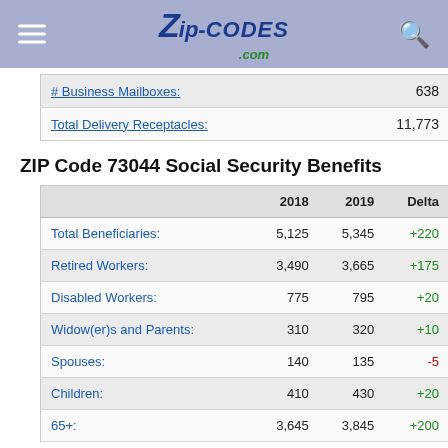ZIP-CODES.com
|  |  |
| --- | --- |
| # Business Mailboxes: | 638 |
| Total Delivery Receptacles: | 11,773 |
ZIP Code 73044 Social Security Benefits
|  | 2018 | 2019 | Delta |
| --- | --- | --- | --- |
| Total Beneficiaries: | 5,125 | 5,345 | +220 |
| Retired Workers: | 3,490 | 3,665 | +175 |
| Disabled Workers: | 775 | 795 | +20 |
| Widow(er)s and Parents: | 310 | 320 | +10 |
| Spouses: | 140 | 135 | -5 |
| Children: | 410 | 430 | +20 |
| 65+: | 3,645 | 3,845 | +200 |